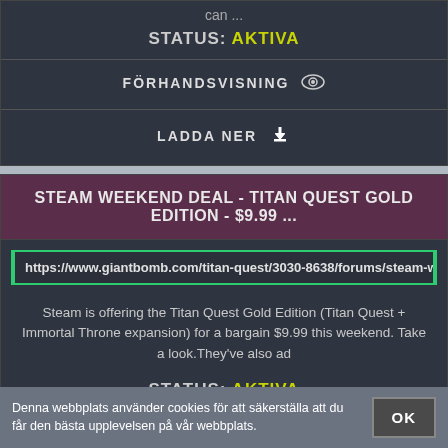can ...
STATUS: AKTIVA
FÖRHANDSVISNING
LADDA NER
STEAM WEEKEND DEAL - TITAN QUEST GOLD EDITION - $9.99 ...
https://www.giantbomb.com/titan-quest/3030-8638/forums/steam-weeke
Steam is offering the Titan Quest Gold Edition (Titan Quest + Immortal Throne expansion) for a bargain $9.99 this weekend. Take a look.They've also ad
STATUS: AKTIVA
Denna webbplats använder cookies för att säkerställa att du får den bästa upplevelsen på vår webbplats.
OK